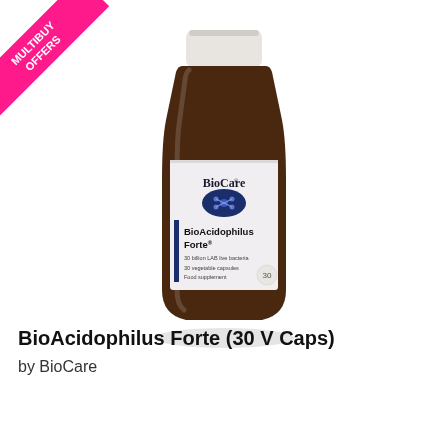[Figure (photo): BioCare BioAcidophilus Forte supplement bottle (30 V Caps) — amber glass jar with white label showing the BioCare logo, an oval with molecular/bacteria graphic, and product name text. Pink corner banner reads MULTIBUY OFFERS.]
BioAcidophilus Forte (30 V Caps)
by BioCare